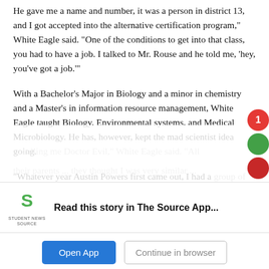He gave me a name and number, it was a person in district 13, and I got accepted into the alternative certification program," White Eagle said. "One of the conditions to get into that class, you had to have a job. I talked to Mr. Rouse and he told me, 'hey, you've got a job.'"
With a Bachelor's Major in Biology and a minor in chemistry and a Master's in information resource management, White Eagle taught Biology, Environmental systems, and Medical Microbiology. He has, however, kept the mad scientist idea going.
“Whatever year Austin Powers first came out, I had a group of students in my biology class and they said ... calling me Doctor Evil,” White Eagle said. “All their parents ... they thought I was very similar ... character Evil ...”
[Figure (screenshot): App install banner with Student News Source logo, 'Read this story in The Source App...' text, Open App button, and Continue in browser button]